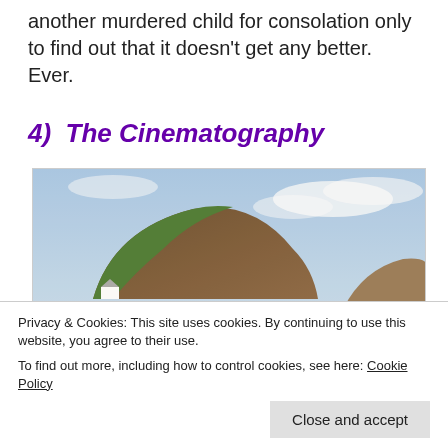another murdered child for consolation only to find out that it doesn't get any better. Ever.
4)  The Cinematography
[Figure (photo): Coastal cliff scene with beach, waves, and silhouettes of people standing and looking at the sea. A large brownish cliff dominates the background under a partly cloudy sky.]
Privacy & Cookies: This site uses cookies. By continuing to use this website, you agree to their use.
To find out more, including how to control cookies, see here: Cookie Policy
Close and accept